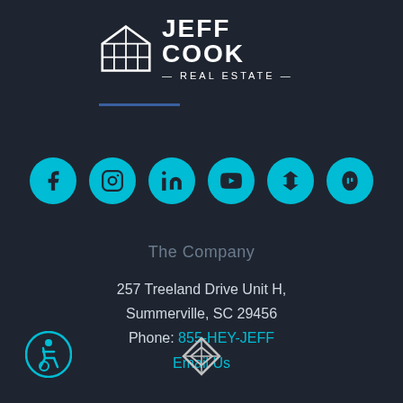[Figure (logo): Jeff Cook Real Estate logo with house icon and brand name]
[Figure (infographic): Row of 6 cyan social media circle icons: Facebook, Instagram, LinkedIn, YouTube, Zillow, Yelp]
The Company
257 Treeland Drive Unit H, Summerville, SC 29456 Phone: 855-HEY-JEFF Email Us
[Figure (logo): Accessibility wheelchair icon in cyan circle, bottom left]
[Figure (logo): Diamond/infinity logo mark at bottom center]